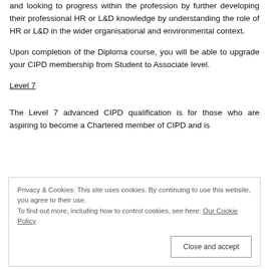and looking to progress within the profession by further developing their professional HR or L&D knowledge by understanding the role of HR or L&D in the wider organisational and environmental context.
Upon completion of the Diploma course, you will be able to upgrade your CIPD membership from Student to Associate level.
Level 7
The Level 7 advanced CIPD qualification is for those who are aspiring to become a Chartered member of CIPD and is
Privacy & Cookies: This site uses cookies. By continuing to use this website, you agree to their use.
To find out more, including how to control cookies, see here: Our Cookie Policy